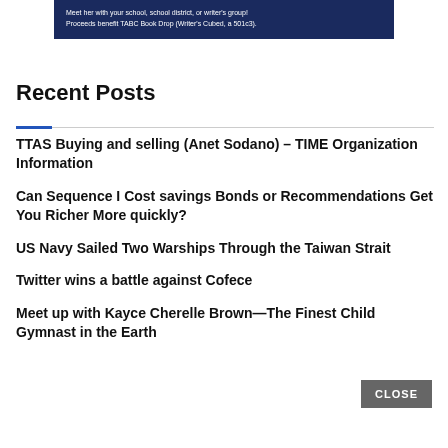[Figure (photo): Partial banner/advertisement with dark blue background showing text about meeting with school or writer's group and proceeds benefiting TABC Book Drop.]
Recent Posts
TTAS Buying and selling (Anet Sodano) – TIME Organization Information
Can Sequence I Cost savings Bonds or Recommendations Get You Richer More quickly?
US Navy Sailed Two Warships Through the Taiwan Strait
Twitter wins a battle against Cofece
Meet up with Kayce Cherelle Brown—The Finest Child Gymnast in the Earth